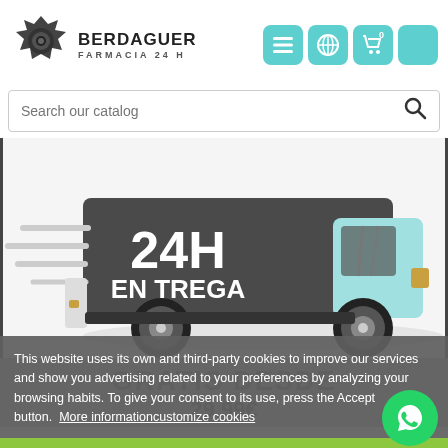[Figure (logo): Berdaguer Farmacia 24H logo with circular saw blade icon]
[Figure (screenshot): Navigation buttons: hamburger menu, globe, shopping cart (0), and another teal button]
[Figure (screenshot): Search bar with 'Search our catalog' placeholder and magnifying glass icon]
[Figure (illustration): Cartoon delivery truck in gray and teal with '24H ENTREGA' text on the side, speed lines on left, shadow below]
GRATIS DESDE
29,99€
This website uses its own and third-party cookies to improve our services and show you advertising related to your preferences by analyzing your browsing habits. To give your consent to its use, press the Accept button.  More information  customize cookies
I ACCEPT